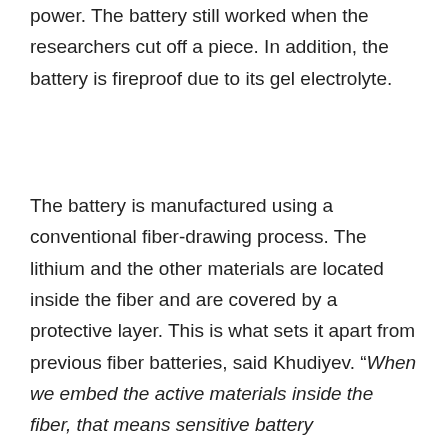(…), power. The battery still worked when the researchers cut off a piece. In addition, the battery is fireproof due to its gel electrolyte.
The battery is manufactured using a conventional fiber-drawing process. The lithium and the other materials are located inside the fiber and are covered by a protective layer. This is what sets it apart from previous fiber batteries, said Khudiyev. "When we embed the active materials inside the fiber, that means sensitive battery components